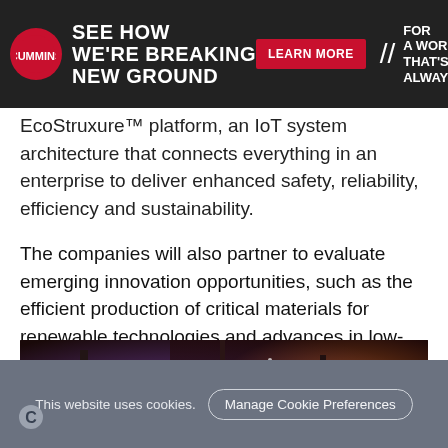[Figure (screenshot): Cummins advertisement banner: logo, 'SEE HOW WE'RE BREAKING NEW GROUND' headline, mining truck image, 'LEARN MORE' red button, 'FOR A WORLD THAT'S ALWAYS ON' slogan on dark background]
EcoStruxure™ platform, an IoT system architecture that connects everything in an enterprise to deliver enhanced safety, reliability, efficiency and sustainability.
The companies will also partner to evaluate emerging innovation opportunities, such as the efficient production of critical materials for renewable technologies and advances in low-carbon, green steel manufacturing, both of which will play a significant long-term role in industrial decarbonisation.
[Figure (photo): Industrial facility at night with machinery, sparks/lights, workers in a steel manufacturing or mining environment, warm purple and orange tones]
This website uses cookies. Manage Cookie Preferences